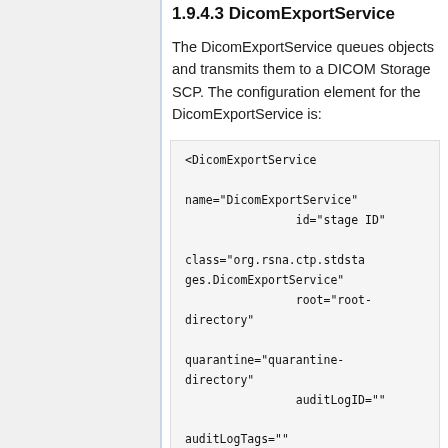1.9.4.3 DicomExportService
The DicomExportService queues objects and transmits them to a DICOM Storage SCP. The configuration element for the DicomExportService is:
<DicomExportService
    name="DicomExportService"
                    id="stage ID"

    class="org.rsna.ctp.stdstages.DicomExportService"
                    root="root-directory"

    quarantine="quarantine-directory"
                    auditLogID=""

    auditLogTags=""